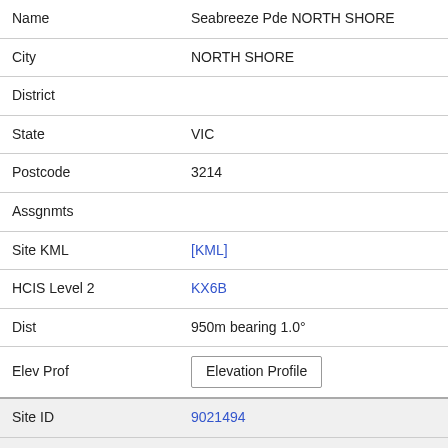| Name | Seabreeze Pde NORTH SHORE |
| City | NORTH SHORE |
| District |  |
| State | VIC |
| Postcode | 3214 |
| Assgnmts |  |
| Site KML | [KML] |
| HCIS Level 2 | KX6B |
| Dist | 950m bearing 1.0° |
| Elev Prof | Elevation Profile |
| Site ID | 9021494 |
| Name | Corio Quay Corio Quay Rd NORTH GEELONG |
| City | NORTH GEELONG |
| District |  |
| State | VIC |
| Postcode | 3214 |
| Assgnmts |  |